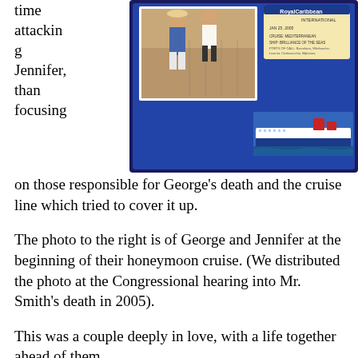time attacking Jennifer, than focusing on those responsible for George's death and the cruise line which tried to cover it up.
[Figure (photo): Photo of George and Jennifer Smith at the beginning of their honeymoon cruise, shown in a decorative cruise-themed frame with a Royal Caribbean ship image and a cruise card/ticket.]
The photo to the right is of George and Jennifer at the beginning of their honeymoon cruise. (We distributed the photo at the Congressional hearing into Mr. Smith's death in 2005).
This was a couple deeply in love, with a life together ahead of them.
Let's hope that tonight's program is really an update on